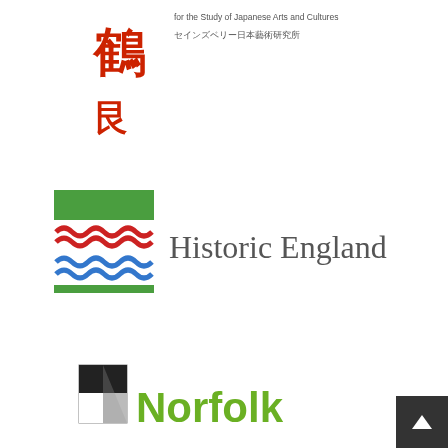[Figure (logo): Sainsbury Institute for the Study of Japanese Arts and Cultures logo with red Japanese characters and English/Japanese text]
[Figure (logo): Historic England logo with green, red and blue wave pattern square icon and 'Historic England' text]
[Figure (logo): Norfolk logo with shield emblem and green bold 'Norfolk' text]